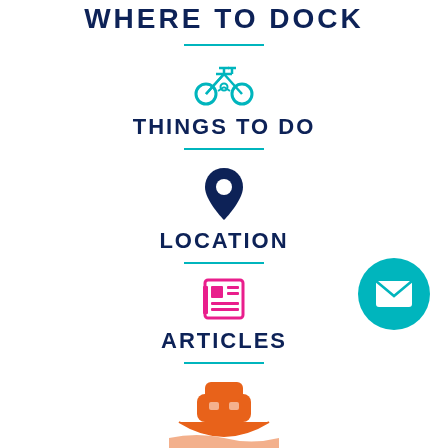[Figure (infographic): Partial top title text WHERE TO DOCK with a teal divider line below]
[Figure (infographic): Teal bicycle icon]
THINGS TO DO
[Figure (infographic): Teal divider line]
[Figure (infographic): Dark navy map pin / location icon]
LOCATION
[Figure (infographic): Teal divider line]
[Figure (infographic): Pink/magenta newspaper/articles icon]
ARTICLES
[Figure (infographic): Teal divider line]
[Figure (infographic): Orange boat/ship icon partially visible at bottom]
[Figure (infographic): Teal circle with white envelope/email icon, positioned at right side]